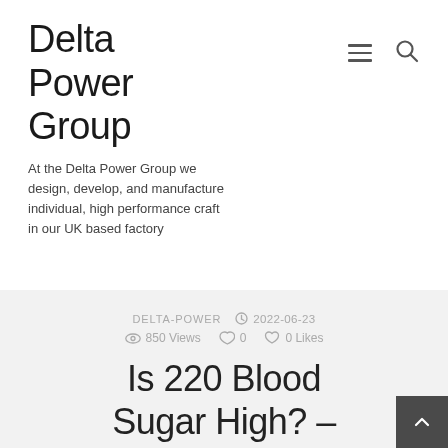Delta Power Group
At the Delta Power Group we design, develop, and manufacture individual, high performance craft in our UK based factory
DELTA-POWER  2022-06-23  850 Views  0  0 Likes
Is 220 Blood Sugar High? –